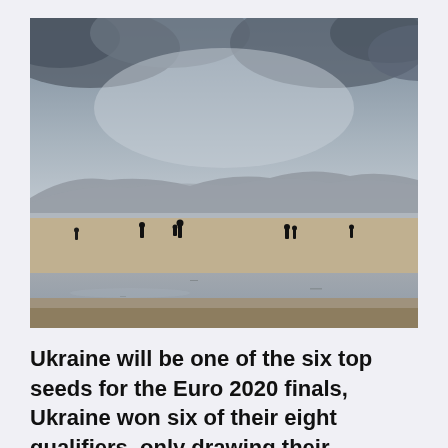[Figure (photo): A wide, flat beach at low tide on an overcast day. Several silhouetted figures walk on the wet sand. In the background are misty hills/mountains partially obscured by grey clouds. The lighting is muted and atmospheric.]
Ukraine will be one of the six top seeds for the Euro 2020 finals, Ukraine won six of their eight qualifiers, only drawing their